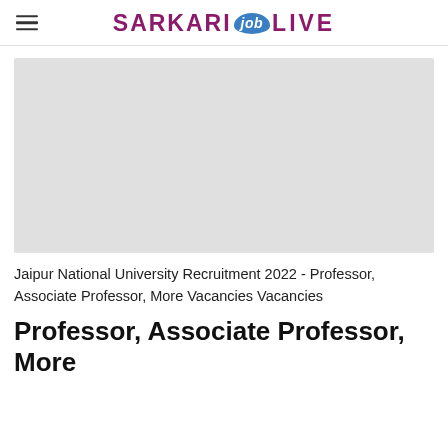SARKARI job LIVE
[Figure (other): Gray placeholder advertisement banner]
Jaipur National University Recruitment 2022 - Professor, Associate Professor, More Vacancies Vacancies
Professor, Associate Professor, More